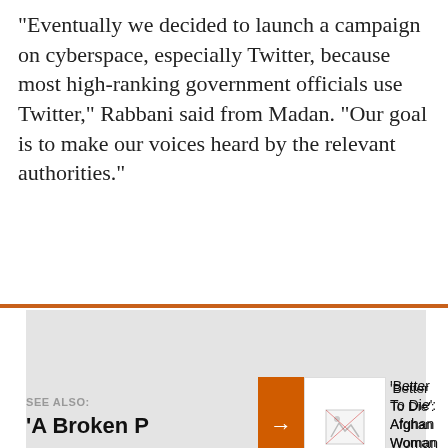"Eventually we decided to launch a campaign on cyberspace, especially Twitter, because most high-ranking government officials use Twitter," Rabbani said from Madan. "Our goal is to make our voices heard by the relevant authorities."
[Figure (illustration): Large light gray image area with a faded watermark logo (stylized flame/torch with leaf shape) centered in the image placeholder]
[Figure (photo): Broken image thumbnail with orange arrow navigation element]
'Better To Die': Afghan Woman Accuses Taliban Official Of Rape, Forced Marriage
SEE ALSO:
'A Broken P